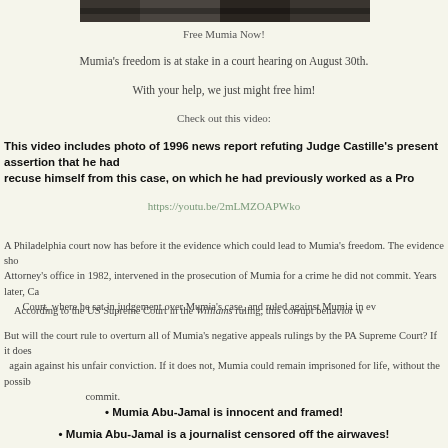[Figure (photo): Cropped news photo strip at top of page showing people]
Free Mumia Now!
Mumia's freedom is at stake in a court hearing on August 30th.
With your help, we just might free him!
Check out this video:
This video includes photo of 1996 news report refuting Judge Castille's present assertion that he had no reason to recuse himself from this case, on which he had previously worked as a Pro...
https://youtu.be/2mLMZOAPWko
A Philadelphia court now has before it the evidence which could lead to Mumia's freedom. The evidence sho... Attorney's office in 1982, intervened in the prosecution of Mumia for a crime he did not commit. Years later, Ca... Court, where he sat in judgement over Mumia's case, and ruled against Mumia in ev...
According to the US Supreme Court in the Williams ruling, this corrupt behavior w...
But will the court rule to overturn all of Mumia's negative appeals rulings by the PA Supreme Court? If it does... again against his unfair conviction. If it does not, Mumia could remain imprisoned for life, without the possib... commit.
• Mumia Abu-Jamal is innocent and framed!
• Mumia Abu-Jamal is a journalist censored off the airwaves!